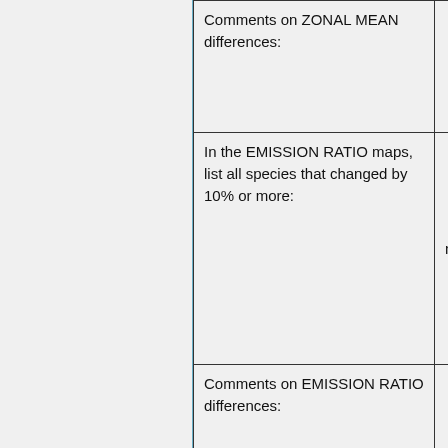| Comments on ZONAL MEAN differences: |  |
| In the EMISSION RATIO maps, list all species that changed by 10% or more: | none |
| Comments on EMISSION RATIO differences: |  |
|  | NOTE: This update corrects |